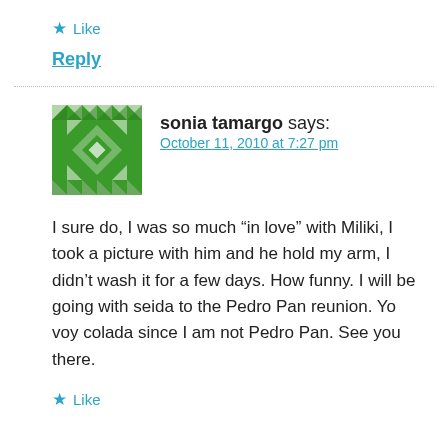★ Like
Reply
sonia tamargo says:
October 11, 2010 at 7:27 pm
I sure do, I was so much “in love” with Miliki, I took a picture with him and he hold my arm, I didn’t wash it for a few days. How funny. I will be going with seida to the Pedro Pan reunion. Yo voy colada since I am not Pedro Pan. See you there.
★ Like